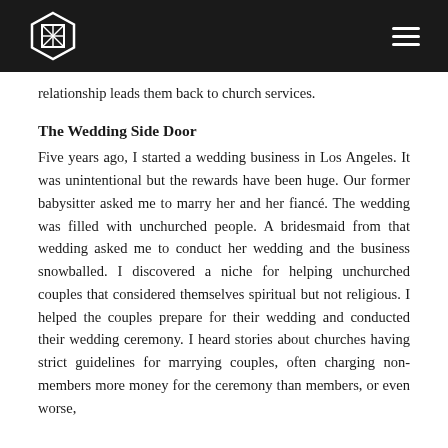[Logo: NB hexagon icon] [Hamburger menu]
relationship leads them back to church services.
The Wedding Side Door
Five years ago, I started a wedding business in Los Angeles. It was unintentional but the rewards have been huge. Our former babysitter asked me to marry her and her fiancé. The wedding was filled with unchurched people. A bridesmaid from that wedding asked me to conduct her wedding and the business snowballed. I discovered a niche for helping unchurched couples that considered themselves spiritual but not religious. I helped the couples prepare for their wedding and conducted their wedding ceremony. I heard stories about churches having strict guidelines for marrying couples, often charging non-members more money for the ceremony than members, or even worse,